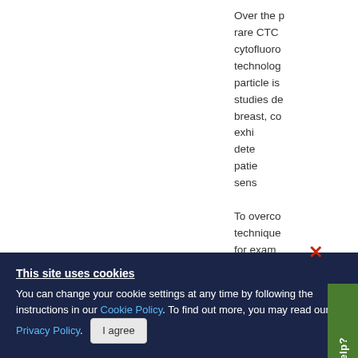Over the past... rare CTC... cytofluoro... technolog... particle is... studies de... breast, co... exhi... dete... patie... sens...
To overco... technique... for exam...
This site uses cookies
You can change your cookie settings at any time by following the instructions in our Cookie Policy. To find out more, you may read our Privacy Policy.